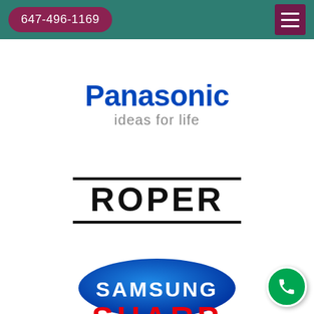647-496-1169
[Figure (logo): Panasonic logo — bold blue 'Panasonic' text with tagline 'ideas for life' in grey below]
[Figure (logo): ROPER logo — bold black all-caps lettering with thick horizontal rules above and below]
[Figure (logo): Samsung logo — blue ellipse/oval with white 'SAMSUNG' text]
[Figure (logo): SHARP logo — bold red all-caps 'SHARP' with italic tagline 'Be Original' below in grey]